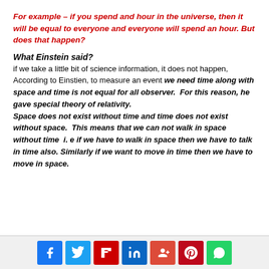For example – if you spend and hour in the universe, then it will be equal to everyone and everyone will spend an hour. But does that happen?
What Einstein said?
if we take a little bit of science information, it does not happen,  According to Einstien, to measure an event we need time along with space and time is not equal for all observer.  For this reason, he gave special theory of relativity. Space does not exist without time and time does not exist without space.  This means that we can not walk in space without time  i. e if we have to walk in space then we have to talk in time also. Similarly if we want to move in time then we have to move in space.
[Figure (infographic): Social sharing buttons bar: Facebook (blue), Twitter (light blue), Flipboard (red), LinkedIn (dark blue), Google+ (red-orange), Pinterest (dark red), WhatsApp (green)]